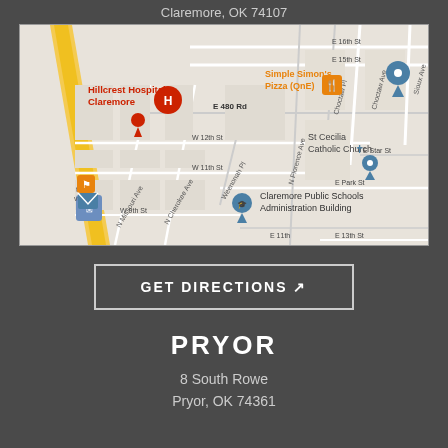Claremore, OK 74107
[Figure (map): Google Maps view of Claremore, OK area showing Hillcrest Hospital Claremore, Claremore Public Schools Administration Building, St Cecilia Catholic Church, Simple Simon's Pizza (QnE), street names including E 480 Rd, N Florence Ave, N Missouri Ave, N Cherokee Ave, W 12th St, W 11th St, W 9th St, E 16th St, E 15th St, E Park St, E Star St, E 13th St, Sioux Ave, Choctaw Ave, Choctaw Pl]
GET DIRECTIONS ↗
PRYOR
8 South Rowe
Pryor, OK 74361